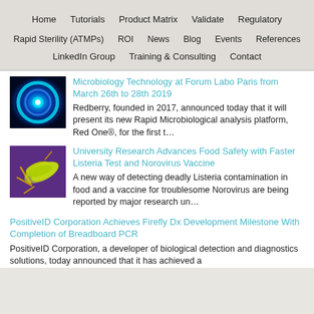Home | Tutorials | Product Matrix | Validate | Regulatory
Rapid Sterility (ATMPs) | ROI | News | Blog | Events | References
LinkedIn Group | Training & Consulting | Contact
[Figure (photo): Blue glowing circular laboratory/microbiology image]
Microbiology Technology at Forum Labo Paris from March 26th to 28th 2019
Redberry, founded in 2017, announced today that it will present its new Rapid Microbiological analysis platform, Red One®, for the first t…
[Figure (photo): Yellow-green bacteria (Listeria) on purple background]
University Research Advances Food Safety with Faster Listeria Test and Norovirus Vaccine
A new way of detecting deadly Listeria contamination in food and a vaccine for troublesome Norovirus are being reported by major research un…
PositiveID Corporation Achieves Firefly Dx Development Milestone With Completion of Breadboard PCR
PositiveID Corporation, a developer of biological detection and diagnostics solutions, today announced that it has achieved a